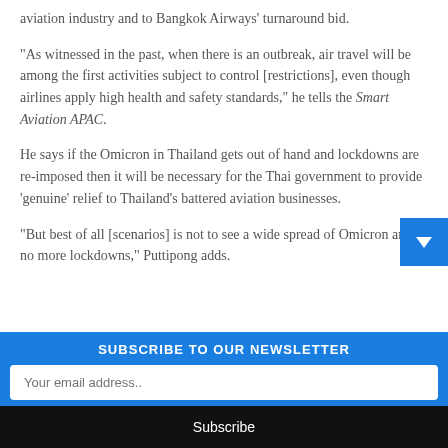aviation industry and to Bangkok Airways' turnaround bid.
“As witnessed in the past, when there is an outbreak, air travel will be among the first activities subject to control [restrictions], even though airlines apply high health and safety standards,” he tells the Smart Aviation APAC.
He says if the Omicron in Thailand gets out of hand and lockdowns are re-imposed then it will be necessary for the Thai government to provide ‘genuine’ relief to Thailand’s battered aviation businesses.
“But best of all [scenarios] is not to see a wide spread of Omicron and no more lockdowns,” Puttipong adds.
SUBSCRIBE TO OUR NEWSLETTER
Your email address..
Subscribe